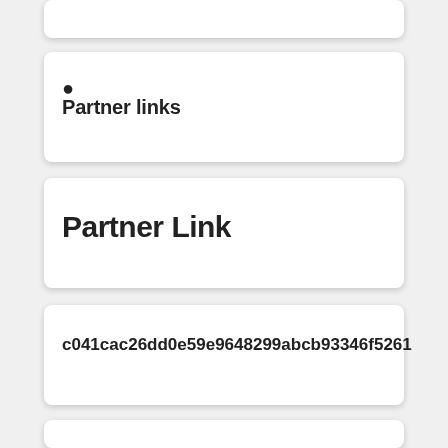• Partner links
Partner Link
c041cac26dd0e59e9648299abcb93346f5261